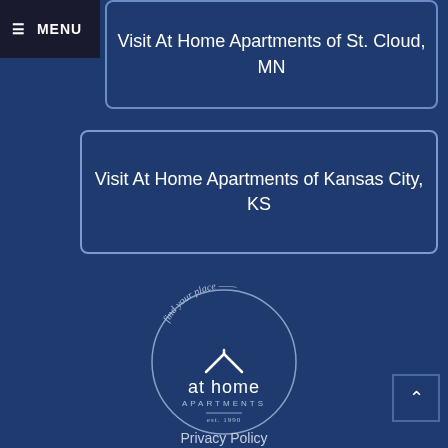MENU
Visit At Home Apartments of St. Cloud, MN
Visit At Home Apartments of Kansas City, KS
[Figure (logo): At Home Apartments circular logo with house icon, 'find your place' text arc, 'at home APARTMENTS' text, and 'est. 1990' below]
Privacy Policy